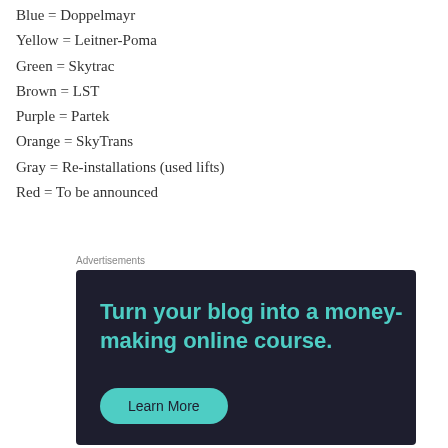Blue = Doppelmayr
Yellow = Leitner-Poma
Green = Skytrac
Brown = LST
Purple = Partek
Orange = SkyTrans
Gray = Re-installations (used lifts)
Red = To be announced
Advertisements
[Figure (other): Advertisement banner with dark background showing 'Turn your blog into a money-making online course.' with a teal Learn More button]